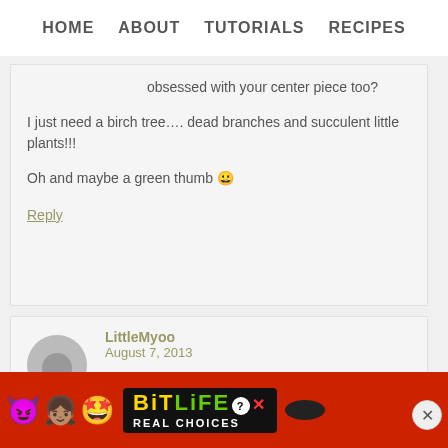HOME   ABOUT   TUTORIALS   RECIPES
obsessed with your center piece too?

I just need a birch tree.... dead branches and succulent little plants!!!

Oh and maybe a green thumb 😀
Reply
LittleMyoo says
August 7, 2013
[Figure (screenshot): BitLife advertisement banner with emojis on red background reading BITLIFE REAL CHOICES with a close button]